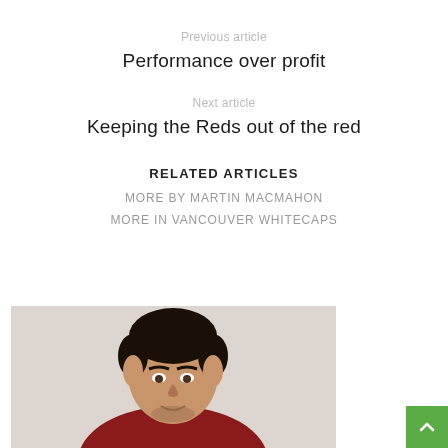Previous article
Performance over profit
Next article
Keeping the Reds out of the red
RELATED ARTICLES
MORE BY MARTIN MACMAHON
MORE IN VANCOUVER WHITECAPS
[Figure (photo): Headshot photo of a young man in a red jersey against a light background]